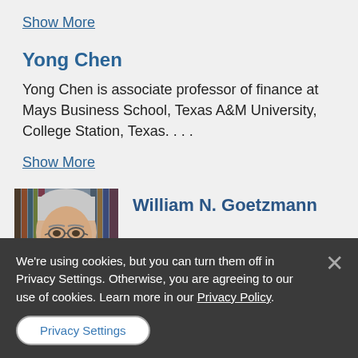Show More
Yong Chen
Yong Chen is associate professor of finance at Mays Business School, Texas A&M University, College Station, Texas....
Show More
[Figure (photo): Headshot photo of William N. Goetzmann, an older man with glasses and white/gray hair, in front of bookshelves]
William N. Goetzmann
We're using cookies, but you can turn them off in Privacy Settings. Otherwise, you are agreeing to our use of cookies. Learn more in our Privacy Policy.
Privacy Settings